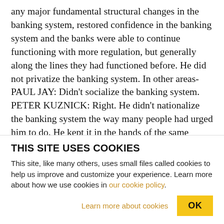any major fundamental structural changes in the banking system, restored confidence in the banking system and the banks were able to continue functioning with more regulation, but generally along the lines they had functioned before. He did not privatize the banking system. In other areas- PAUL JAY: Didn't socialize the banking system. PETER KUZNICK: Right. He didn't nationalize the banking system the way many people had urged him to do. He kept it in the hands of the same people he had before. There were congressional hearings about banking. Some individual bankers faced criminal...
THIS SITE USES COOKIES
This site, like many others, uses small files called cookies to help us improve and customize your experience. Learn more about how we use cookies in our cookie policy.
Learn more about cookies
OK